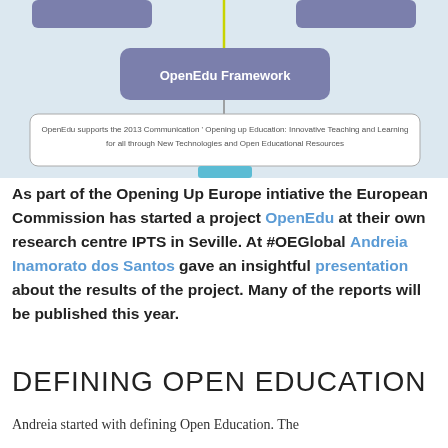[Figure (schematic): OpenEdu Framework diagram showing a rounded rectangle with 'OpenEdu Framework' label in white text on a purple/mauve background, with a note box below saying 'OpenEdu supports the 2013 Communication Opening up Education: Innovative Teaching and Learning for all through New Technologies and Open Educational Resources'. Part of a larger flowchart, showing tops of other boxes above.]
As part of the Opening Up Europe intiative the European Commission has started a project OpenEdu at their own research centre IPTS in Seville. At #OEGlobal Andreia Inamorato dos Santos gave an insightful presentation about the results of the project. Many of the reports will be published this year.
DEFINING OPEN EDUCATION
Andreia started with defining Open Education. The